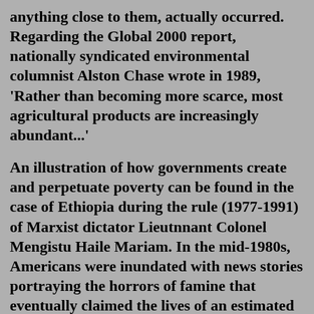anything close to them, actually occurred. Regarding the Global 2000 report, nationally syndicated environmental columnist Alston Chase wrote in 1989, 'Rather than becoming more scarce, most agricultural products are increasingly abundant...'
An illustration of how governments create and perpetuate poverty can be found in the case of Ethiopia during the rule (1977-1991) of Marxist dictator Lieutnnant Colonel Mengistu Haile Mariam. In the mid-1980s, Americans were inundated with news stories portraying the horrors of famine that eventually claimed the lives of an estimated one million Ethiopians.